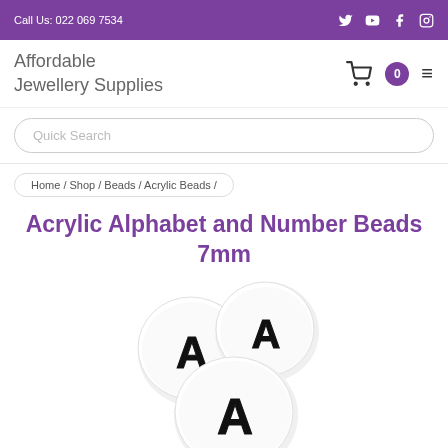Call Us: 022 069 7534
Affordable Jewellery Supplies
Quick Search
Home / Shop / Beads / Acrylic Beads /
Acrylic Alphabet and Number Beads 7mm
[Figure (photo): Three white circular acrylic beads each with a black letter A printed on them]